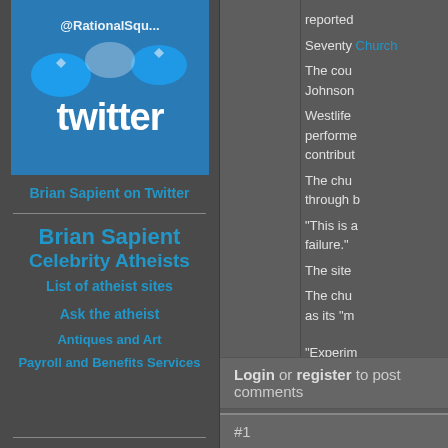[Figure (screenshot): Twitter logo image with @RationalSqu... handle visible, blue bird mascots and twitter wordmark on dark background]
Brian Sapient on Twitter
Brian Sapient
Celebrity Atheists
List of atheist sites
Ask the atheist
Antiques and Art
Payroll and Benefits Services
reported
Seventy Church
The cou Johnson
Westlife performed contribut
The chu through b
"This is a failure."
The site
The chu as its "m
"Experim
Login or register to post comments
#1